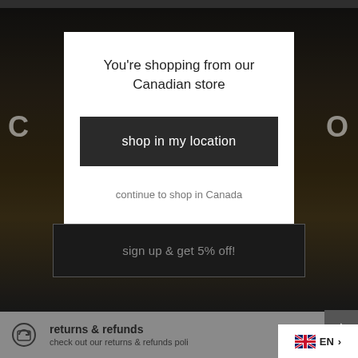[Figure (screenshot): Dark landscape background with modal overlay showing Canadian store message]
You're shopping from our Canadian store
shop in my location
continue to shop in Canada
sign up & get 5% off!
returns & refunds
check out our returns & refunds poli
EN >